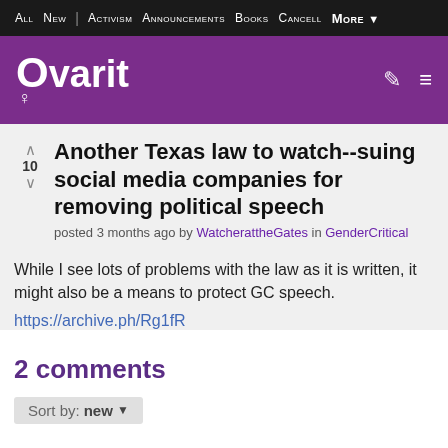ALL  NEW  |  Activism  Announcements  Books  Cancell  More
[Figure (logo): Ovarit logo — white text on purple background with female symbol]
Another Texas law to watch--suing social media companies for removing political speech
posted 3 months ago by WatcherattheGates in GenderCritical
While I see lots of problems with the law as it is written, it might also be a means to protect GC speech.
https://archive.ph/Rg1fR
2 comments
Sort by: new ▼